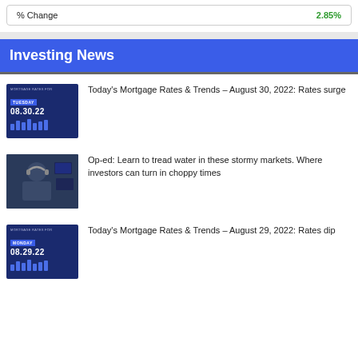| % Change |  |
| --- | --- |
| % Change | 2.85% |
Investing News
[Figure (photo): Thumbnail image showing mortgage rates for Tuesday 08.30.22 on a dark blue background]
Today's Mortgage Rates & Trends – August 30, 2022: Rates surge
[Figure (photo): Photo of a man with headphones on a trading floor]
Op-ed: Learn to tread water in these stormy markets. Where investors can turn in choppy times
[Figure (photo): Thumbnail image showing mortgage rates for Monday 08.29.22 on a dark blue background]
Today's Mortgage Rates & Trends – August 29, 2022: Rates dip